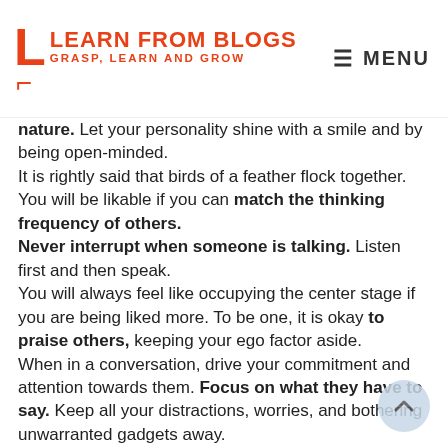LEARN FROM BLOGS — GRASP, LEARN AND GROW | MENU
nature. Let your personality shine with a smile and by being open-minded.
It is rightly said that birds of a feather flock together. You will be likable if you can match the thinking frequency of others.
Never interrupt when someone is talking. Listen first and then speak.
You will always feel like occupying the center stage if you are being liked more. To be one, it is okay to praise others, keeping your ego factor aside.
When in a conversation, drive your commitment and attention towards them. Focus on what they have to say. Keep all your distractions, worries, and bothering unwarranted gadgets away.
Build enough rapport with your audience.
Synchronize your body language and thoughts with